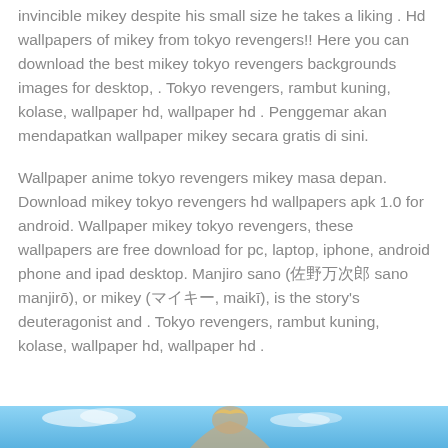invincible mikey despite his small size he takes a liking . Hd wallpapers of mikey from tokyo revengers!! Here you can download the best mikey tokyo revengers backgrounds images for desktop, . Tokyo revengers, rambut kuning, kolase, wallpaper hd, wallpaper hd . Penggemar akan mendapatkan wallpaper mikey secara gratis di sini.
Wallpaper anime tokyo revengers mikey masa depan. Download mikey tokyo revengers hd wallpapers apk 1.0 for android. Wallpaper mikey tokyo revengers, these wallpapers are free download for pc, laptop, iphone, android phone and ipad desktop. Manjiro sano (佐野万次郎 sano manjirō), or mikey (マイキー, maikī), is the story's deuteragonist and . Tokyo revengers, rambut kuning, kolase, wallpaper hd, wallpaper hd .
[Figure (photo): Partial view of an anime illustration at the bottom of the page, showing a character from Tokyo Revengers with blue sky background.]